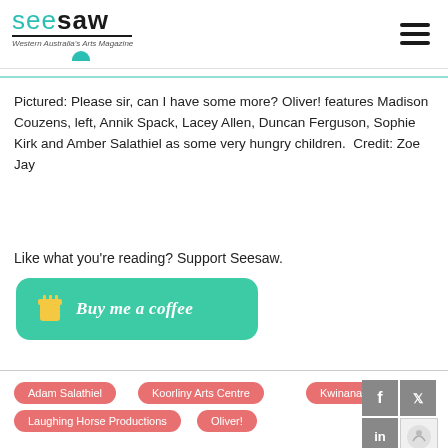seesaw — Western Australia's Arts Magazine
Pictured: Please sir, can I have some more? Oliver! features Madison Couzens, left, Annik Spack, Lacey Allen, Duncan Ferguson, Sophie Kirk and Amber Salathiel as some very hungry children.  Credit: Zoe Jay
Like what you're reading? Support Seesaw.
[Figure (other): Buy me a coffee button — green rounded rectangle with coffee cup icon and cursive text 'Buy me a coffee']
Adam Salathiel
Koorliny Arts Centre
Kwinana
Laughing Horse Productions
Oliver!